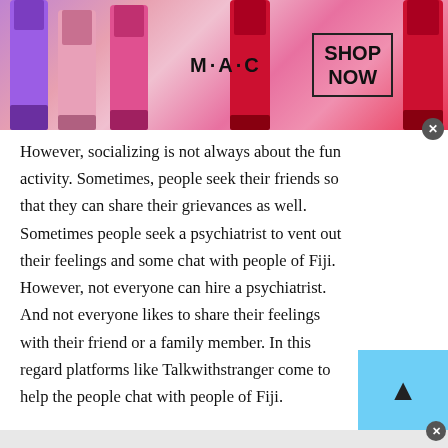[Figure (illustration): MAC cosmetics advertisement banner showing lipsticks in purple, pink, and red colors with MAC logo and SHOP NOW button in a bordered box]
However, socializing is not always about the fun activity. Sometimes, people seek their friends so that they can share their grievances as well. Sometimes people seek a psychiatrist to vent out their feelings and some chat with people of Fiji. However, not everyone can hire a psychiatrist. And not everyone likes to share their feelings with their friend or a family member. In this regard platforms like Talkwithstranger come to help the people chat with people of Fiji.
[Figure (infographic): Bottom advertisement bar with two ad units: 'Discover New and Used Car Deals Near You' by CarDealsNearYou with car image, and 'These Pictures Was Taken Minutes Before The Beginning Of The Disaster!' by BillyNews with people/car image]